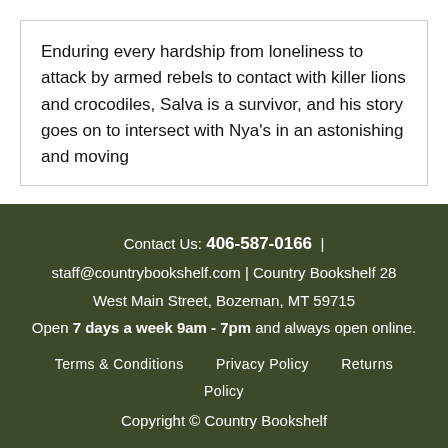Enduring every hardship from loneliness to attack by armed rebels to contact with killer lions and crocodiles, Salva is a survivor, and his story goes on to intersect with Nya's in an astonishing and moving
Contact Us: 406-587-0166 | staff@countrybookshelf.com | Country Bookshelf 28 West Main Street, Bozeman, MT 59715
Open 7 days a week 9am - 7pm and always open online.
Terms & Conditions   Privacy Policy   Returns Policy
Copyright © Country Bookshelf